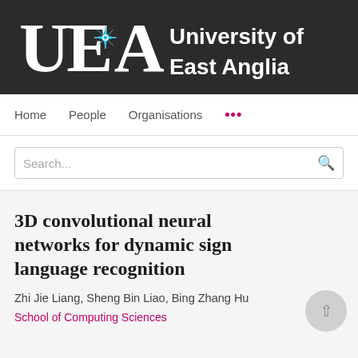[Figure (logo): University of East Anglia (UEA) logo — white UEA letters with a blue star icon on dark background, followed by 'University of East Anglia' text in white]
Home   People   Organisations   ...
Search...
3D convolutional neural networks for dynamic sign language recognition
Zhi Jie Liang, Sheng Bin Liao, Bing Zhang Hu
School of Computing Sciences